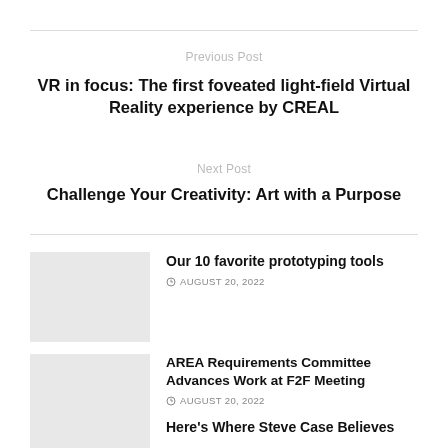Previous Post
VR in focus: The first foveated light-field Virtual Reality experience by CREAL
Next Post
Challenge Your Creativity: Art with a Purpose
Our 10 favorite prototyping tools
© AUGUST 20, 2022
AREA Requirements Committee Advances Work at F2F Meeting
© AUGUST 20, 2022
Here's Where Steve Case Believes...